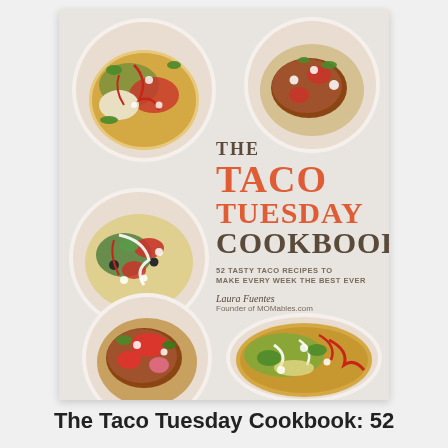[Figure (illustration): Book cover of 'The Taco Tuesday Cookbook: 52 Tasty Taco Recipes to Make Every Week the Best Ever' by Laura Fuentes, Founder of MOMables.com. The cover features six colorful taco photographs arranged around the title text on a light background.]
The Taco Tuesday Cookbook: 52